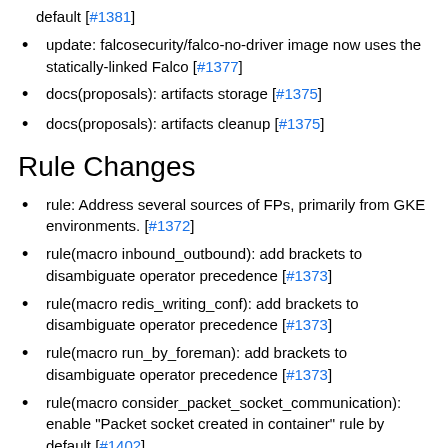default [#1381]
update: falcosecurity/falco-no-driver image now uses the statically-linked Falco [#1377]
docs(proposals): artifacts storage [#1375]
docs(proposals): artifacts cleanup [#1375]
Rule Changes
rule: Address several sources of FPs, primarily from GKE environments. [#1372]
rule(macro inbound_outbound): add brackets to disambiguate operator precedence [#1373]
rule(macro redis_writing_conf): add brackets to disambiguate operator precedence [#1373]
rule(macro run_by_foreman): add brackets to disambiguate operator precedence [#1373]
rule(macro consider_packet_socket_communication): enable "Packet socket created in container" rule by default [#1402]